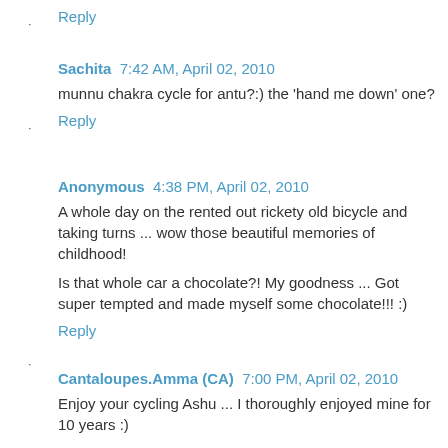Reply
Sachita  7:42 AM, April 02, 2010
munnu chakra cycle for antu?:) the 'hand me down' one?
Reply
Anonymous  4:38 PM, April 02, 2010
A whole day on the rented out rickety old bicycle and taking turns ... wow those beautiful memories of childhood!
Is that whole car a chocolate?! My goodness ... Got super tempted and made myself some chocolate!!! :)
Reply
Cantaloupes.Amma (CA)  7:00 PM, April 02, 2010
Enjoy your cycling Ashu ... I thoroughly enjoyed mine for 10 years :)